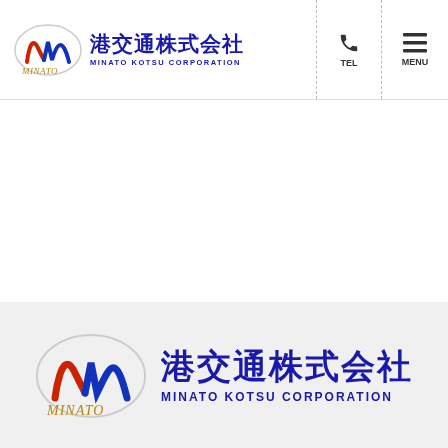港交通株式会社 MINATO KOTSU CORPORATION — TEL / MENU
[Figure (logo): Minato Kotsu Corporation logo with stylized M emblem, Japanese text 港交通株式会社 and English text MINATO KOTSU CORPORATION]
[Figure (logo): Large Minato Kotsu Corporation logo on gray background with stylized M emblem, Japanese text 港交通株式会社 and English text MINATO KOTSU CORPORATION]
当サイトでは、快適なウェブサービス提供のため、Cookieを使用しています。Cookieについての詳細や、使用できるCookieを無効にする方法についてはこちらをご覧ください。
Cookie設定　　同意しない　　同意してすすむ